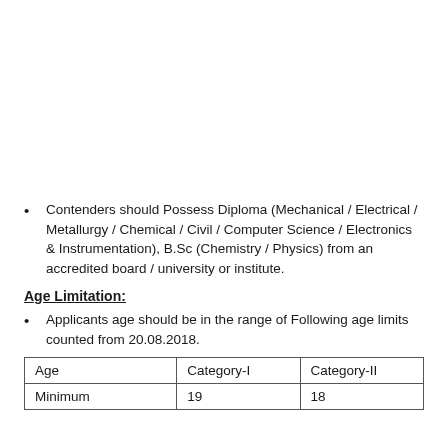Contenders should Possess Diploma (Mechanical / Electrical / Metallurgy / Chemical / Civil / Computer Science / Electronics & Instrumentation), B.Sc (Chemistry / Physics) from an accredited board / university or institute.
Age Limitation:
Applicants age should be in the range of Following age limits counted from 20.08.2018.
| Age | Category-I | Category-II |
| --- | --- | --- |
| Minimum | 19 | 18 |